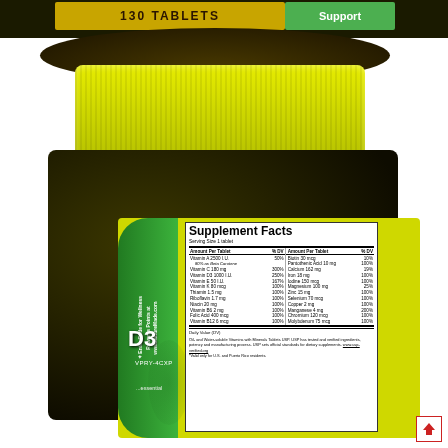[Figure (photo): Supplement bottle (Nature Made multivitamin with D3, 130 tablets) photographed from side showing yellow cap, dark bottle body, green ribbon label, and Supplement Facts panel on yellow label. Top of a second bottle visible at top of image.]
130 TABLETS
Support
Supplement Facts
Serving Size 1 tablet
| Amount Per Tablet | % DV | Amount Per Tablet | % DV |
| --- | --- | --- | --- |
| Vitamin A 2500 I.U. | 50% | Biotin 30 mcg | 10% |
| 80% as Beta Carotene |  | Pantothenic Acid 10 mg | 100% |
| Vitamin C 180 mg | 300% | Calcium 162 mg | 19% |
| Vitamin D3 1000 I.U. | 250% | Iron 18 mg | 100% |
| Vitamin E 50 I.U. | 167% | Iodine 150 mcg | 100% |
| Vitamin K 80 mcg | 100% | Magnesium 100 mg | 25% |
| Thiamin 1.5 mg | 100% | Zinc 15 mg | 100% |
| Riboflavin 1.7 mg | 100% | Selenium 70 mcg | 100% |
| Niacin 20 mg | 100% | Copper 2 mg | 100% |
| Vitamin B6 2 mg | 100% | Manganese 4 mg | 200% |
| Folic Acid 400 mcg | 100% | Chromium 120 mcg | 100% |
| Vitamin B12 6 mcg | 100% | Molybdenum 75 mcg | 100% |
Daily Value (DV)
Oil- and Water-soluble Vitamins with Minerals Tablets USP. USP has tested and verified ingredients, potency and manufacturing process. USP sets official standards for dietary supplements. www.usp-verified.org
*Valid only for U.S. and Puerto Rico residents.
Enter Code for Wellness Rewards Points at www.NatureMade.com
D3
VPRY-4CXP
essential